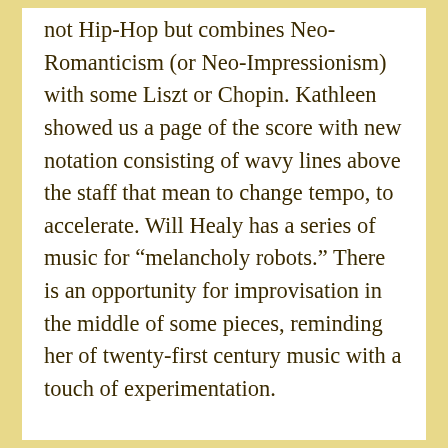not Hip-Hop but combines Neo-Romanticism (or Neo-Impressionism) with some Liszt or Chopin. Kathleen showed us a page of the score with new notation consisting of wavy lines above the staff that mean to change tempo, to accelerate. Will Healy has a series of music for "melancholy robots." There is an opportunity for improvisation in the middle of some pieces, reminding her of twenty-first century music with a touch of experimentation.
Although Anthony Green lives in Amsterdam, he spends time in Boston, where he founded Castle of our Skins, an organization that promotes the music of black composers. His piece “To Anacreon in the U.S.'' is inspired by Debussy's prelude “Feux